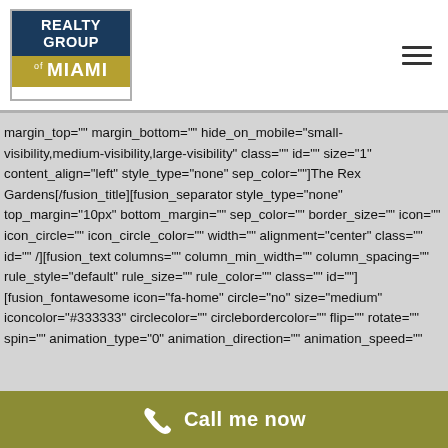[Figure (logo): Realty Group of Miami logo — dark blue top section with 'REALTY GROUP' text, gold/olive bottom section with 'MIAMI' text]
margin_top="" margin_bottom="" hide_on_mobile="small-visibility,medium-visibility,large-visibility" class="" id="" size="1" content_align="left" style_type="none" sep_color=""]The Rex Gardens[/fusion_title][fusion_separator style_type="none" top_margin="10px" bottom_margin="" sep_color="" border_size="" icon="" icon_circle="" icon_circle_color="" width="" alignment="center" class="" id="" /][fusion_text columns="" column_min_width="" column_spacing="" rule_style="default" rule_size="" rule_color="" class="" id=""][fusion_fontawesome icon="fa-home" circle="no" size="medium" iconcolor="#333333" circlecolor="" circlebordercolor="" flip="" rotate="" spin="" animation_type="0" animation_direction="" animation_speed="
Call me now